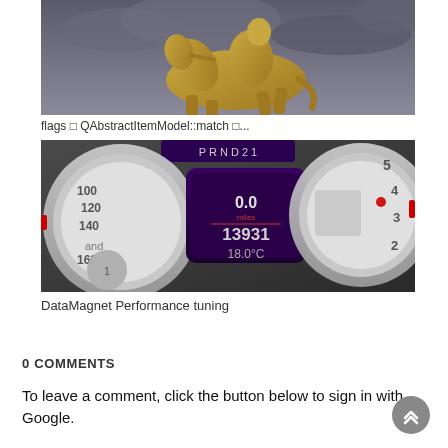[Figure (photo): Gold statue of a person on horseback against a grey cloudy sky]
flags □ QAbstractItemModel::match □...
[Figure (photo): Car dashboard speedometer and gauges showing 0.0 miles, 13931, and 18.0°C]
DataMagnet Performance tuning
0 COMMENTS
To leave a comment, click the button below to sign in with Google.